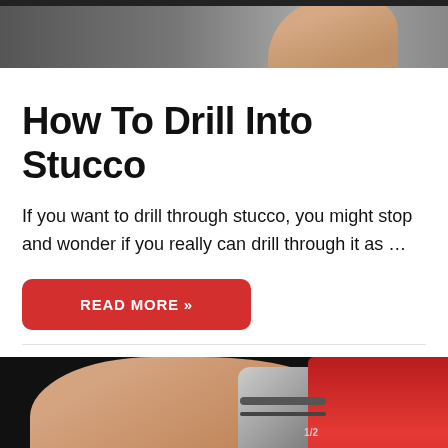[Figure (photo): Close-up photo of a hand holding a tool against a dark background, partially cropped at top of page]
How To Drill Into Stucco
If you want to drill through stucco, you might stop and wonder if you really can drill through it as …
READ MORE »
[Figure (photo): Close-up photo of a hand adjusting the chuck/collar of a red cordless drill, with text overlay reading 'What Do The Numbers On a Cordless']